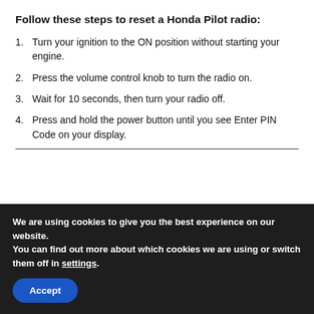Follow these steps to reset a Honda Pilot radio:
Turn your ignition to the ON position without starting your engine.
Press the volume control knob to turn the radio on.
Wait for 10 seconds, then turn your radio off.
Press and hold the power button until you see Enter PIN Code on your display.
We are using cookies to give you the best experience on our website.
You can find out more about which cookies we are using or switch them off in settings.
Accept